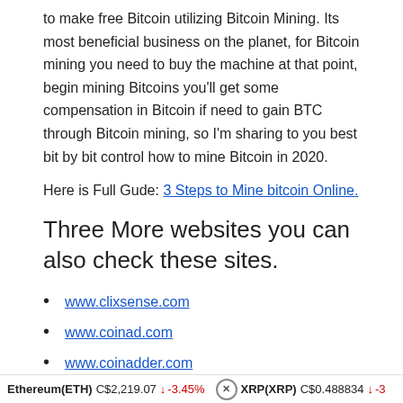to make free Bitcoin utilizing Bitcoin Mining. Its most beneficial business on the planet, for Bitcoin mining you need to buy the machine at that point, begin mining Bitcoins you'll get some compensation in Bitcoin if need to gain BTC through Bitcoin mining, so I'm sharing to you best bit by bit control how to mine Bitcoin in 2020.
Here is Full Gude: 3 Steps to Mine bitcoin Online.
Three More websites you can also check these sites.
www.clixsense.com
www.coinad.com
www.coinadder.com
Here I have shared five distinct sites that will assist you with
Ethereum(ETH) C$2,219.07 ↓ -3.45%   XRP(XRP) C$0.488834 ↓ -3...